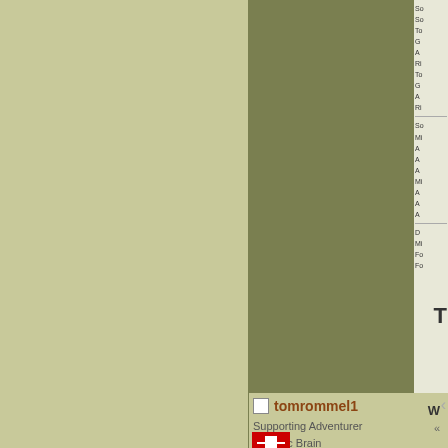[Figure (screenshot): Forum/website page showing a two-column layout with olive/tan background panels. Left panel is light olive-tan, center-right panel is darker olive green.]
tomrommel1
Supporting Adventurer
Galactic Brain
[Figure (illustration): Small flag icon with red and white colors (appears to be a national flag)]
W
«